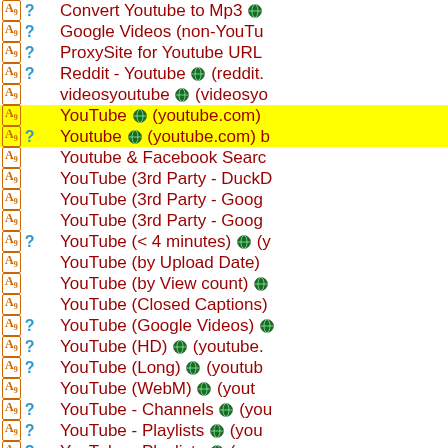Convert Youtube to Mp3
Google Videos (non-YouTube)
ProxySite for Youtube URL
Reddit - Youtube (reddit.)
videosyoutube (videosyo
YouTube (youtube.com)
Youtube (youtube.com) b
Youtube & Facebook Search
YouTube (3rd Party - DuckD
YouTube (3rd Party - Goog
YouTube (3rd Party - Goog
YouTube (< 4 minutes)
YouTube (by Upload Date)
YouTube (by View count)
YouTube (Closed Captions)
YouTube (Google Videos)
YouTube (HD) (youtube.
YouTube (Long) (youtub
YouTube (WebM) (yout
YouTube - Channels (you
YouTube - Playlists (you
YouTube - Playlists (you
YouTube - Proxmate (y